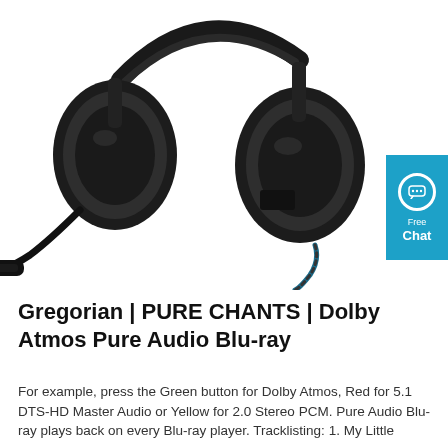[Figure (photo): Black over-ear gaming headset with a flexible boom microphone with blue cable accent, shown on white background. A blue chat badge is partially visible on the right edge.]
Gregorian | PURE CHANTS | Dolby Atmos Pure Audio Blu-ray
For example, press the Green button for Dolby Atmos, Red for 5.1 DTS-HD Master Audio or Yellow for 2.0 Stereo PCM. Pure Audio Blu-ray plays back on every Blu-ray player. Tracklisting: 1. My Little